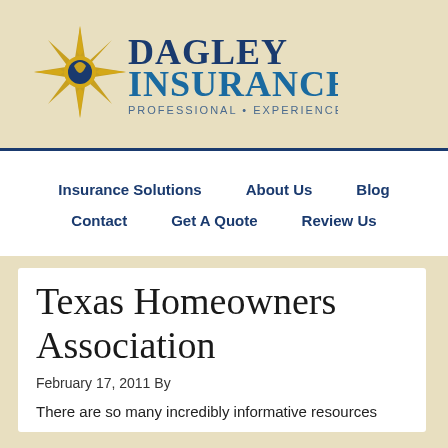[Figure (logo): Dagley Insurance logo with gold sunburst star icon and blue text reading DAGLEY INSURANCE with tagline PROFESSIONAL • EXPERIENCED • EDUCATIONAL]
Insurance Solutions   About Us   Blog   Contact   Get A Quote   Review Us
Texas Homeowners Association
February 17, 2011 By
There are so many incredibly informative resources